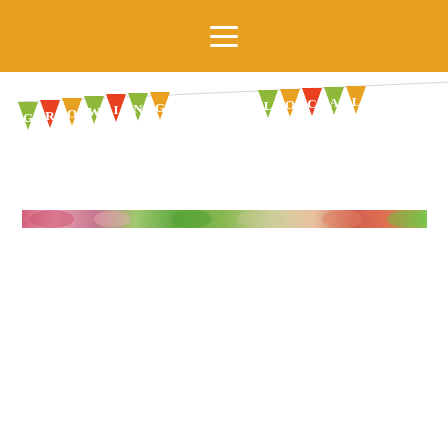[Figure (other): Golden/amber navigation header bar with hamburger menu icon (three white horizontal lines) centered]
[Figure (illustration): Growing Local logo made of colorful bunting/pennant flags spelling out GROWING LOCAL in red, orange, green and yellow triangular flags on a string, on white background]
[Figure (photo): A narrow horizontal strip photo showing colorful flowers and greenery, spanning most of the page width]